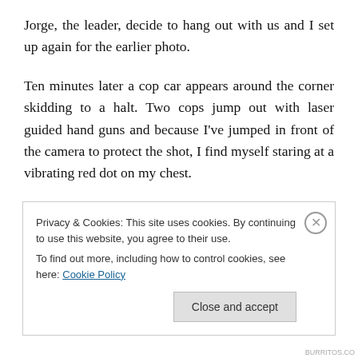Jorge, the leader, decide to hang out with us and I set up again for the earlier photo.
Ten minutes later a cop car appears around the corner skidding to a halt. Two cops jump out with laser guided hand guns and because I've jumped in front of the camera to protect the shot, I find myself staring at a vibrating red dot on my chest.
A minute later, we're all standing with our hands on the hood of the cop car. I'm waiting for the cops to relax before
Privacy & Cookies: This site uses cookies. By continuing to use this website, you agree to their use.
To find out more, including how to control cookies, see here: Cookie Policy